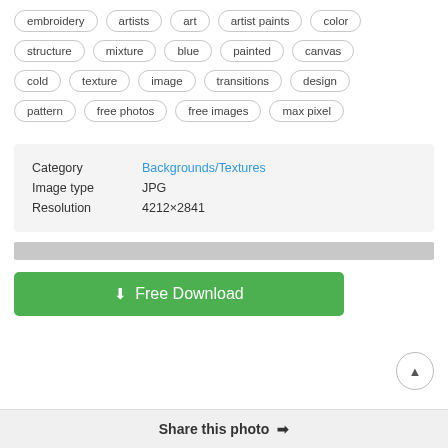embroidery
artists
art
artist paints
color
structure
mixture
blue
painted
canvas
cold
texture
image
transitions
design
pattern
free photos
free images
max pixel
| Field | Value |
| --- | --- |
| Category | Backgrounds/Textures |
| Image type | JPG |
| Resolution | 4212×2841 |
Free Download
Share this photo →